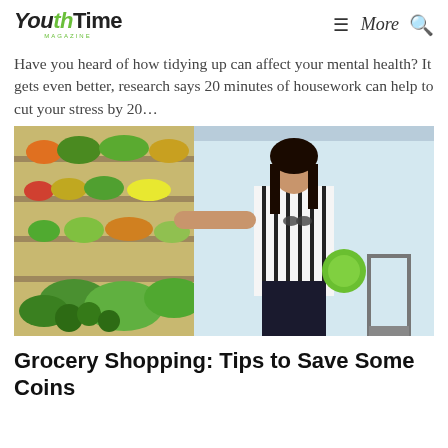YouthTime Magazine | More
Have you heard of how tidying up can affect your mental health? It gets even better, research says 20 minutes of housework can help to cut your stress by 20…
[Figure (photo): A young woman in a striped shirt holds a cabbage and reaches toward produce in a grocery store, shopping cart visible beside her.]
Grocery Shopping: Tips to Save Some Coins